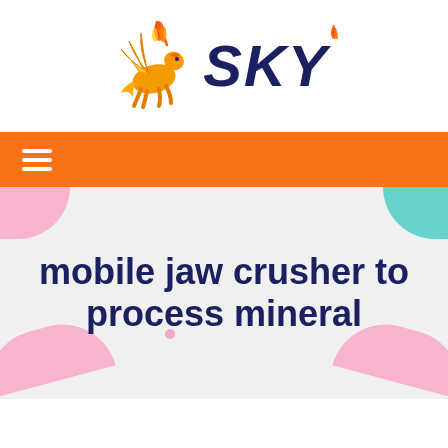[Figure (logo): Sky company logo with flaming pegasus horse and italic 'SKY' text in dark navy blue]
[Figure (infographic): Orange navigation bar with hamburger menu icon (three white horizontal lines)]
mobile jaw crusher to process mineral